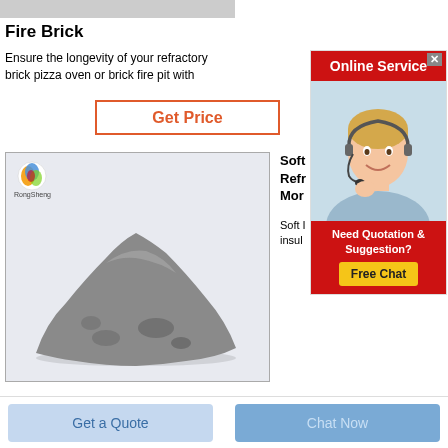[Figure (other): Gray top bar placeholder]
Fire Brick
Ensure the longevity of your refractory brick pizza oven or brick fire pit with
Get Price
[Figure (photo): Photo of gray refractory powder pile with RongSheng logo in top-left corner]
Soft Refractory Mor
Soft I insul
[Figure (other): Online Service advertisement with agent photo, red banner, and Free Chat button]
Get a Quote
Chat Now